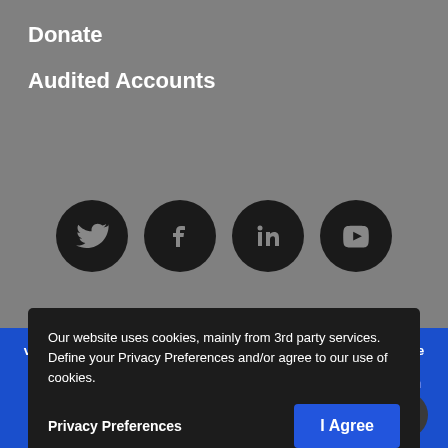Donate
Audited Accounts
[Figure (illustration): Four social media icons in dark circles: Twitter, Facebook, LinkedIn, YouTube]
We use cookies to provide the best web experience. By visiting this website you are accepting our Privacy and Cookie Policy. © 2021 Billion Child Foundation™
Our website uses cookies, mainly from 3rd party services. Define your Privacy Preferences and/or agree to our use of cookies.
Privacy Preferences
I Agree
BCF is registered as a charity/non-profit in South Africa (079-704-NPO), in Ghana (CG081082019), in The Gambia (2019/C9709) and with the Charities Commission England and Wales (1178...) founded in 2008.